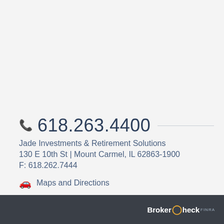618.263.4400
Jade Investments & Retirement Solutions
130 E 10th St | Mount Carmel, IL 62863-1900
F: 618.262.7444
Maps and Directions
BrokerCheck FINRA